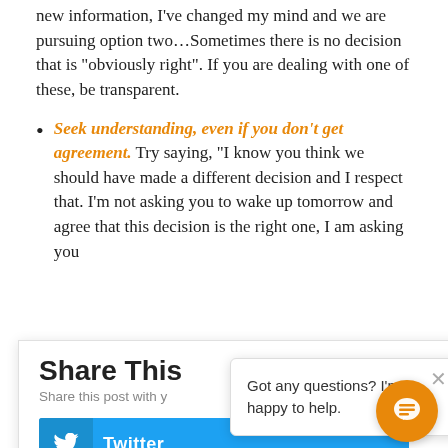new information, I've changed my mind and we are pursuing option two…Sometimes there is no decision that is "obviously right". If you are dealing with one of these, be transparent.
Seek understanding, even if you don't get agreement. Try saying, "I know you think we should have made a different decision and I respect that. I'm not asking you to wake up tomorrow and agree that this decision is the right one, I am asking you
[Figure (screenshot): Share This modal with Twitter and LinkedIn buttons. Title: Share This. Subtitle: Share this post with y... Close X button.]
[Figure (screenshot): Chat popup overlay: 'Got any questions? I'm happy to help.' with X close button and orange chat bubble button.]